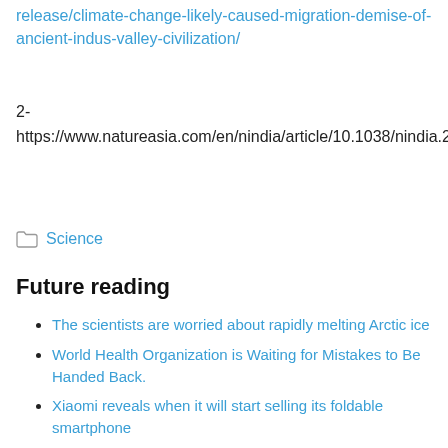release/climate-change-likely-caused-migration-demise-of-ancient-indus-valley-civilization/
2- https://www.natureasia.com/en/nindia/article/10.1038/nindia.2018.61
Science
Future reading
The scientists are worried about rapidly melting Arctic ice
World Health Organization is Waiting for Mistakes to Be Handed Back.
Xiaomi reveals when it will start selling its foldable smartphone
Karoline Plickhaus confidently beats Veronica...